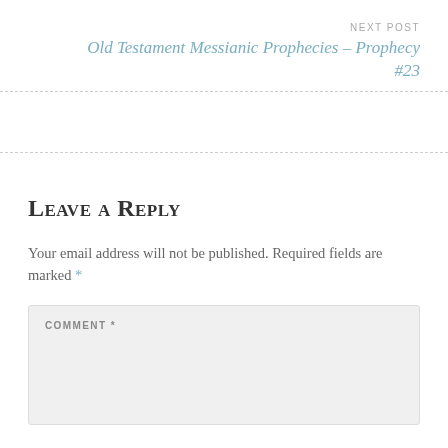NEXT POST
Old Testament Messianic Prophecies – Prophecy #23
Leave a Reply
Your email address will not be published. Required fields are marked *
COMMENT *